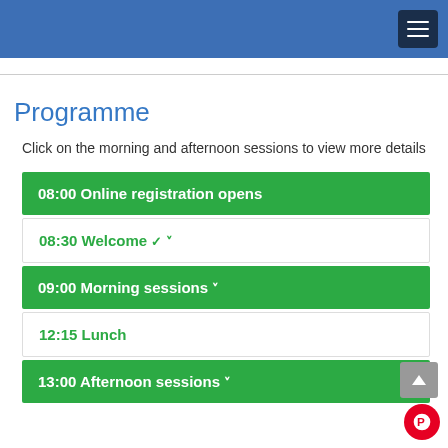Programme
Click on the morning and afternoon sessions to view more details
08:00 Online registration opens
08:30 Welcome
09:00 Morning sessions
12:15 Lunch
13:00 Afternoon sessions